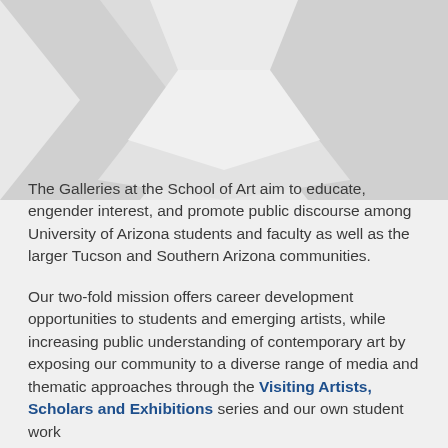[Figure (illustration): Decorative background graphic with gray geometric hexagonal or chevron shapes at the top of the page]
The Galleries at the School of Art aim to educate, engender interest, and promote public discourse among University of Arizona students and faculty as well as the larger Tucson and Southern Arizona communities.
Our two-fold mission offers career development opportunities to students and emerging artists, while increasing public understanding of contemporary art by exposing our community to a diverse range of media and thematic approaches through the Visiting Artists, Scholars and Exhibitions series and our own student work